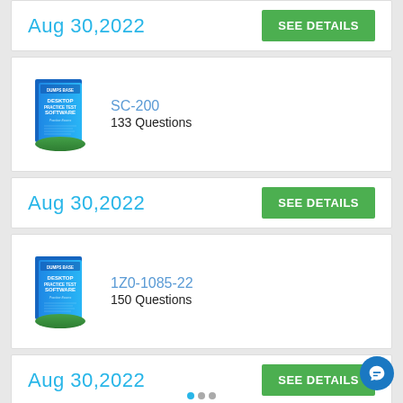Aug 30,2022
SEE DETAILS
[Figure (photo): Desktop Practice Test Software box for SC-200]
SC-200
133 Questions
Aug 30,2022
SEE DETAILS
[Figure (photo): Desktop Practice Test Software box for 1Z0-1085-22]
1Z0-1085-22
150 Questions
Aug 30,2022
SEE DETAILS